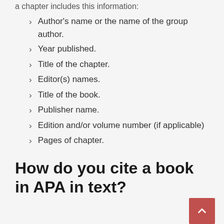a chapter includes this information:
Author's name or the name of the group author.
Year published.
Title of the chapter.
Editor(s) names.
Title of the book.
Publisher name.
Edition and/or volume number (if applicable)
Pages of chapter.
How do you cite a book in APA in text?